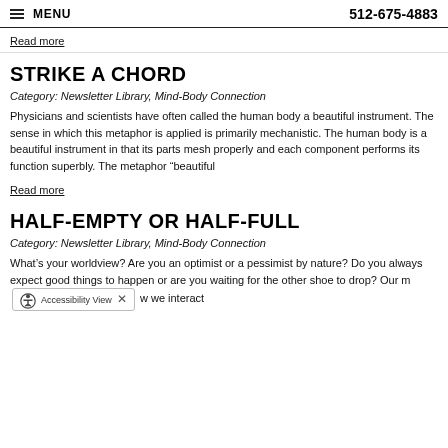MENU   512-675-4883
Read more
STRIKE A CHORD
Category: Newsletter Library, Mind-Body Connection
Physicians and scientists have often called the human body a beautiful instrument. The sense in which this metaphor is applied is primarily mechanistic. The human body is a beautiful instrument in that its parts mesh properly and each component performs its function superbly. The metaphor "beautiful
Read more
HALF-EMPTY OR HALF-FULL
Category: Newsletter Library, Mind-Body Connection
What's your worldview? Are you an optimist or a pessimist by nature? Do you always expect good things to happen or are you waiting for the other shoe to drop? Our m… w we interact